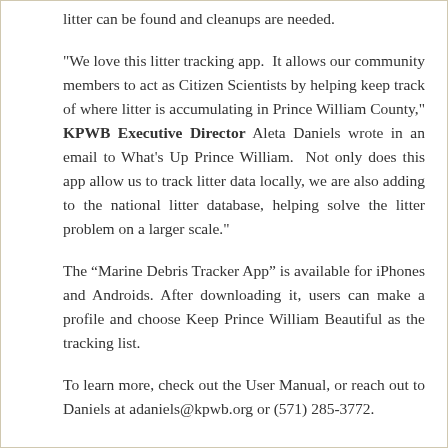litter can be found and cleanups are needed.
"We love this litter tracking app.  It allows our community members to act as Citizen Scientists by helping keep track of where litter is accumulating in Prince William County," KPWB Executive Director Aleta Daniels wrote in an email to What's Up Prince William.  Not only does this app allow us to track litter data locally, we are also adding to the national litter database, helping solve the litter problem on a larger scale."
The “Marine Debris Tracker App” is available for iPhones and Androids. After downloading it, users can make a profile and choose Keep Prince William Beautiful as the tracking list.
To learn more, check out the User Manual, or reach out to Daniels at adaniels@kpwb.org or (571) 285-3772.